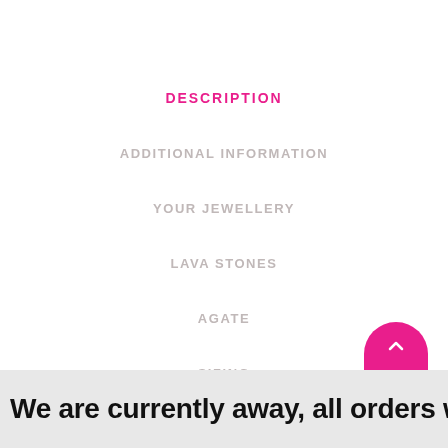DESCRIPTION
ADDITIONAL INFORMATION
YOUR JEWELLERY
LAVA STONES
AGATE
SIZING
We are currently away, all orders will be